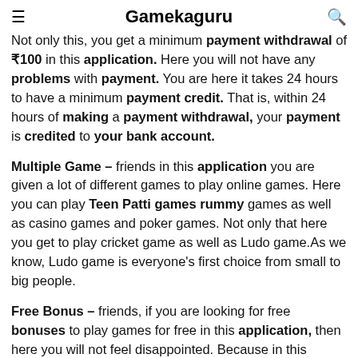Gamekaguru
Not only this, you get a minimum payment withdrawal of ₹100 in this application. Here you will not have any problems with payment. You are here it takes 24 hours to have a minimum payment credit. That is, within 24 hours of making a payment withdrawal, your payment is credited to your bank account.
Multiple Game – friends in this application you are given a lot of different games to play online games. Here you can play Teen Patti games rummy games as well as casino games and poker games. Not only that here you get to play cricket game as well as Ludo game.As we know, Ludo game is everyone's first choice from small to big people.
Free Bonus – friends, if you are looking for free bonuses to play games for free in this application, then here you will not feel disappointed. Because in this application you